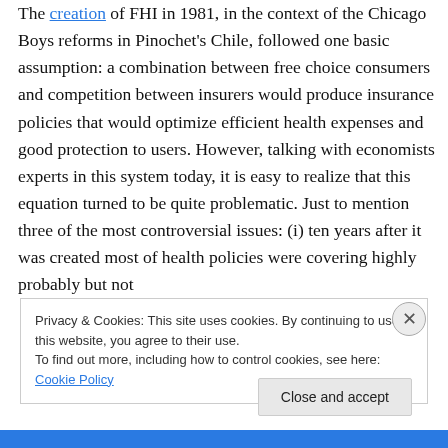The creation of FHI in 1981, in the context of the Chicago Boys reforms in Pinochet's Chile, followed one basic assumption: a combination between free choice consumers and competition between insurers would produce insurance policies that would optimize efficient health expenses and good protection to users. However, talking with economists experts in this system today, it is easy to realize that this equation turned to be quite problematic. Just to mention three of the most controversial issues: (i) ten years after it was created most of health policies were covering highly probably but not
Privacy & Cookies: This site uses cookies. By continuing to use this website, you agree to their use.
To find out more, including how to control cookies, see here: Cookie Policy
Close and accept